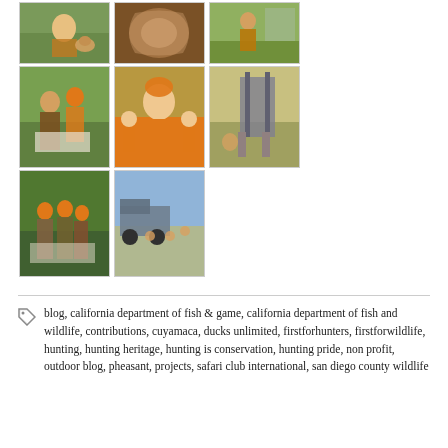[Figure (photo): Grid of 8 outdoor/hunting photos showing children and adults in orange vests with hunting dogs and equipment]
blog, california department of fish & game, california department of fish and wildlife, contributions, cuyamaca, ducks unlimited, firstforhunters, firstforwildlife, hunting, hunting heritage, hunting is conservation, hunting pride, non profit, outdoor blog, pheasant, projects, safari club international, san diego county wildlife